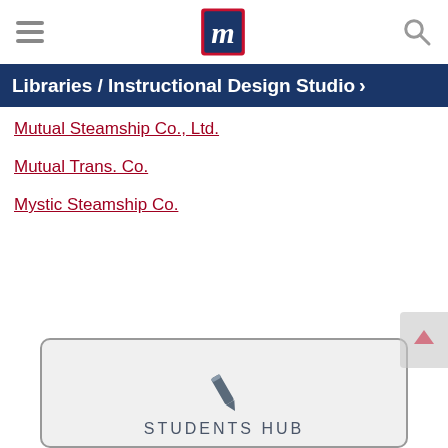Libraries / Instructional Design Studio
Mutual Steamship Co., Ltd.
Mutual Trans. Co.
Mystic Steamship Co.
[Figure (screenshot): Students Hub card with pencil icon and partial text 'STUDENTS HUB']